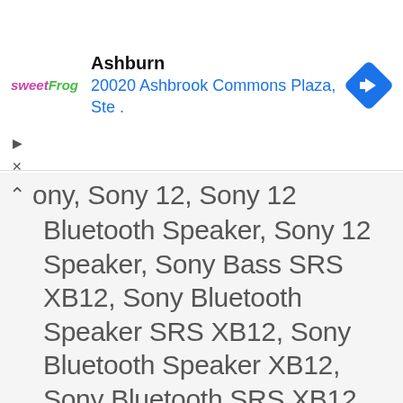[Figure (screenshot): sweetFrog advertisement banner showing location 'Ashburn' with address '20020 Ashbrook Commons Plaza, Ste .' and a blue navigation/directions diamond icon on the right.]
ony, Sony 12, Sony 12 Bluetooth Speaker, Sony 12 Speaker, Sony Bass SRS XB12, Sony Bluetooth Speaker SRS XB12, Sony Bluetooth Speaker XB12, Sony Bluetooth SRS XB12, Sony Bluetooth XB12, Sony Extra Bass 12, Sony Extra Bass Speaker SRS XB12, Sony Extra Bass Speaker XB12, Sony